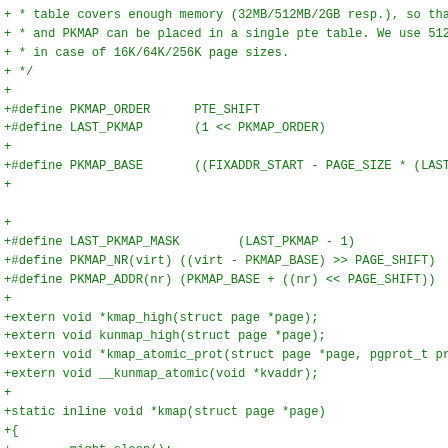+ * table covers enough memory (32MB/512MB/2GB resp.), so tha
+ * and PKMAP can be placed in a single pte table. We use 512
+ * in case of 16K/64K/256K page sizes.
+ */
+
+#define PKMAP_ORDER      PTE_SHIFT
+#define LAST_PKMAP       (1 << PKMAP_ORDER)
+
+#define PKMAP_BASE       ((FIXADDR_START - PAGE_SIZE * (LAST_P
+
+
+#define LAST_PKMAP_MASK        (LAST_PKMAP - 1)
+#define PKMAP_NR(virt) ((virt - PKMAP_BASE) >> PAGE_SHIFT)
+#define PKMAP_ADDR(nr) (PKMAP_BASE + ((nr) << PAGE_SHIFT))
+
+extern void *kmap_high(struct page *page);
+extern void kunmap_high(struct page *page);
+extern void *kmap_atomic_prot(struct page *page, pgprot_t pr
+extern void __kunmap_atomic(void *kvaddr);
+
+static inline void *kmap(struct page *page)
+{
+        might_sleep();
+        if (!PageHighMem(page))
+                return page_address(page);